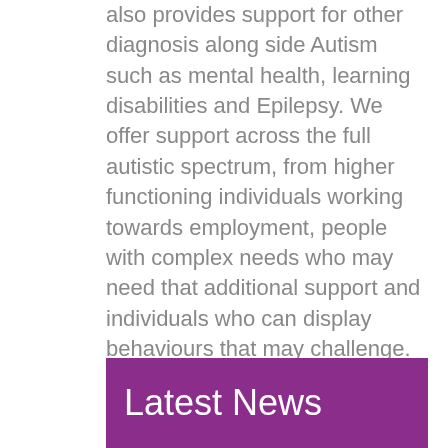We're an Autism specific organisation who also provides support for other diagnosis along side Autism such as mental health, learning disabilities and Epilepsy. We offer support across the full autistic spectrum, from higher functioning individuals working towards employment, people with complex needs who may need that additional support and individuals who can display behaviours that may challenge.
We focus on what a person CAN do rather than what they can't.
Latest News